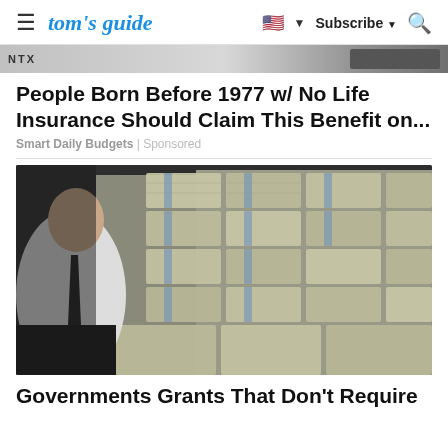tom's guide | Subscribe
[Figure (other): Ad banner with 'NTX' text and dark overlay on right]
People Born Before 1977 w/ No Life Insurance Should Claim This Benefit on...
Smart Daily Budgets | Sponsored
[Figure (photo): A man in white shirt and dark tie leaning over stacks of bundled US dollar bills filling the frame]
Governments Grants That Don't Require